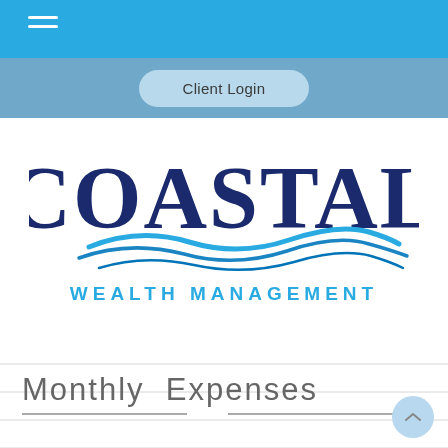[Figure (logo): Coastal Wealth Management logo with wave graphic and navigation bar showing Client Login button]
Monthly Expenses